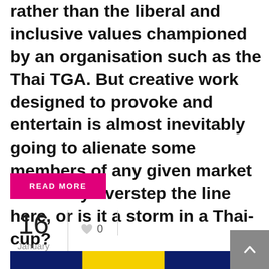rather than the liberal and inclusive values championed by an organisation such as the Thai TGA. But creative work designed to provoke and entertain is almost inevitably going to alienate some members of any given market – did they overstep the line here, or is it a storm in a Thai-cup?
READ MORE
16 January
0
[Figure (photo): Partial image of McDonald's golden arches logo on dark blue background, cropped at bottom of page]